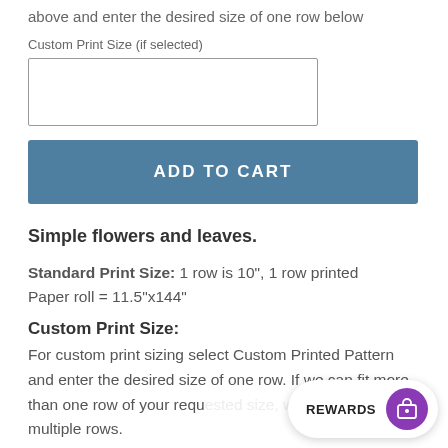above and enter the desired size of one row below
Custom Print Size (if selected)
[Figure (other): Empty text input box for custom print size]
[Figure (other): ADD TO CART button, blue/steel color]
Simple flowers and leaves.
Standard Print Size: 1 row is 10", 1 row printed
Paper roll = 11.5"x144"
Custom Print Size:
For custom print sizing select Custom Printed Pattern and enter the desired size of one row. If we can fit more than one row of your requ... print multiple rows.
[Figure (other): REWARDS button with purple circle icon at bottom right of screen]